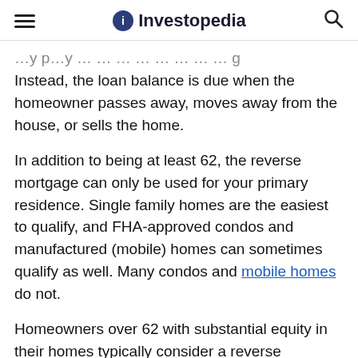Investopedia
Instead, the loan balance is due when the homeowner passes away, moves away from the house, or sells the home.
In addition to being at least 62, the reverse mortgage can only be used for your primary residence. Single family homes are the easiest to qualify, and FHA-approved condos and manufactured (mobile) homes can sometimes qualify as well. Many condos and mobile homes do not.
Homeowners over 62 with substantial equity in their homes typically consider a reverse mortgage in order to supplement their income, or use the cash to pay an unexpected medical expense. For the reverse mortgage